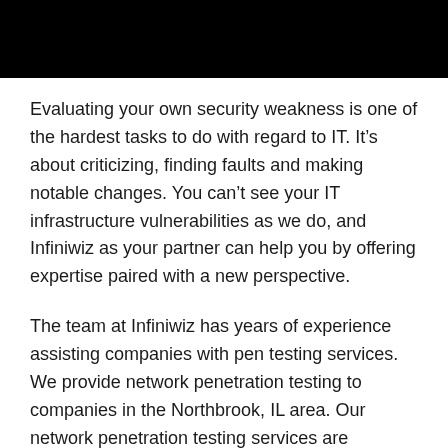[Figure (other): Black header bar spanning full width at top of page]
Evaluating your own security weakness is one of the hardest tasks to do with regard to IT. It’s about criticizing, finding faults and making notable changes. You can’t see your IT infrastructure vulnerabilities as we do, and Infiniwiz as your partner can help you by offering expertise paired with a new perspective.
The team at Infiniwiz has years of experience assisting companies with pen testing services. We provide network penetration testing to companies in the Northbrook, IL area. Our network penetration testing services are invaluable in identifying and resolving any